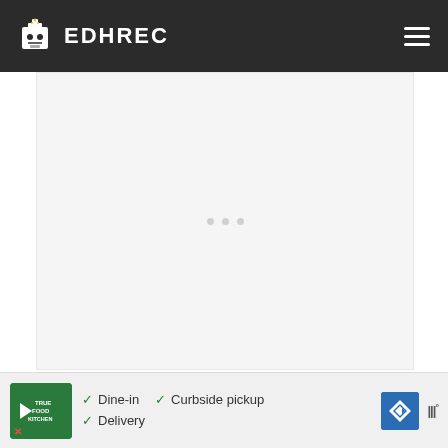EDHREC
[Figure (other): Advertisement placeholder with three grey dots in center on light grey background]
The other one that stood out to me was Seedborn Muse. Everyone knows this card is insane, and in a Rhys deck, it's no joke. Someone had better have a Hallowed Burial ready or things will...
[Figure (other): True Food Kitchen advertisement banner with Dine-in, Curbside pickup, Delivery options and navigation icon]